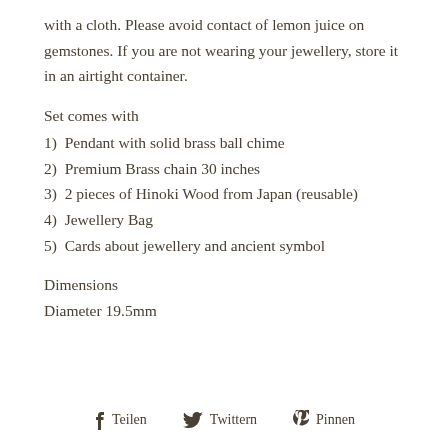with a cloth. Please avoid contact of lemon juice on gemstones. If you are not wearing your jewellery, store it in an airtight container.
Set comes with
1) Pendant with solid brass ball chime
2) Premium Brass chain 30 inches
3) 2 pieces of Hinoki Wood from Japan (reusable)
4) Jewellery Bag
5) Cards about jewellery and ancient symbol
Dimensions
Diameter 19.5mm
f Teilen   y Twittern   p Pinnen